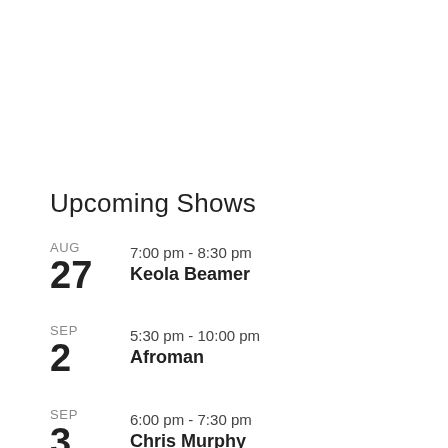Upcoming Shows
AUG 27 · 7:00 pm - 8:30 pm · Keola Beamer
SEP 2 · 5:30 pm - 10:00 pm · Afroman
SEP 3 · 6:00 pm - 7:30 pm · Chris Murphy
SEP [date cut off] · 7:00 pm - 8:30 pm